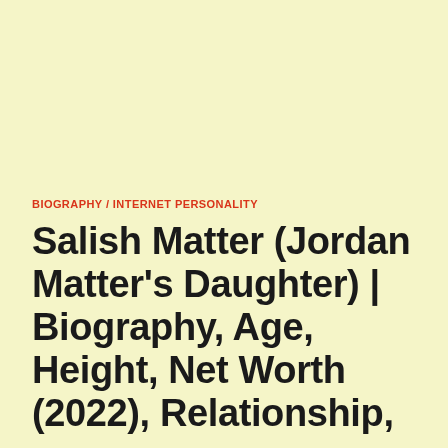BIOGRAPHY / INTERNET PERSONALITY
Salish Matter (Jordan Matter's Daughter) | Biography, Age, Height, Net Worth (2022), Relationship,